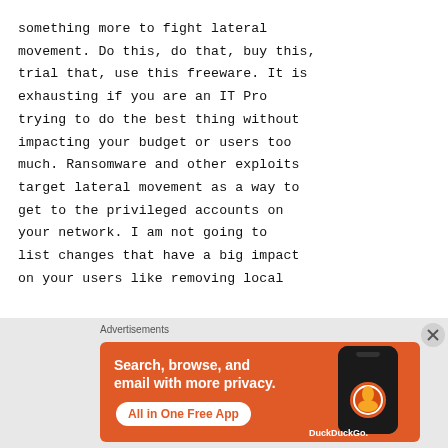something more to fight lateral movement. Do this, do that, buy this, trial that, use this freeware. It is exhausting if you are an IT Pro trying to do the best thing without impacting your budget or users too much. Ransomware and other exploits target lateral movement as a way to get to the privileged accounts on your network. I am not going to list changes that have a big impact on your users like removing local
Advertisements
[Figure (infographic): DuckDuckGo advertisement banner with orange background. Text reads 'Search, browse, and email with more privacy.' with a white button 'All in One Free App'. Right side shows a smartphone with the DuckDuckGo logo and brand name.]